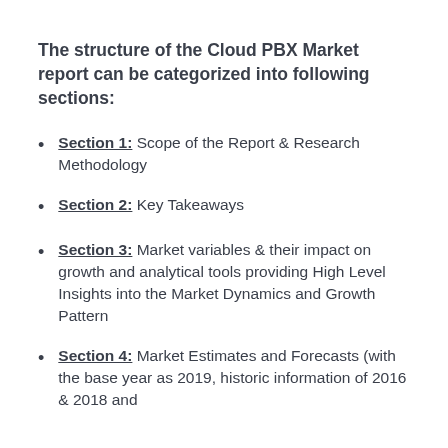The structure of the Cloud PBX Market report can be categorized into following sections:
Section 1: Scope of the Report & Research Methodology
Section 2: Key Takeaways
Section 3: Market variables & their impact on growth and analytical tools providing High Level Insights into the Market Dynamics and Growth Pattern
Section 4: Market Estimates and Forecasts (with the base year as 2019, historic information of 2016 & 2018 and